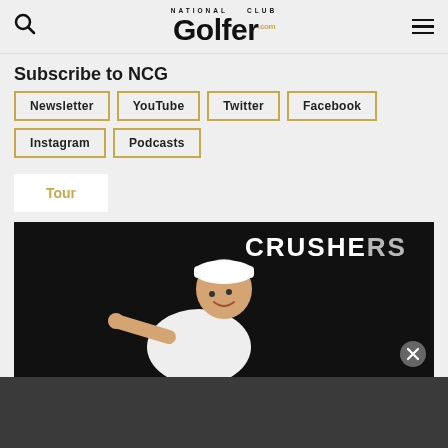National Club Golfer
Subscribe to NCG
Newsletter
YouTube
Twitter
Facebook
Instagram
Podcasts
Tour
[Figure (photo): Man in white shirt and white cap pointing, with 'CRUSHERS' text visible in background on dark backdrop]